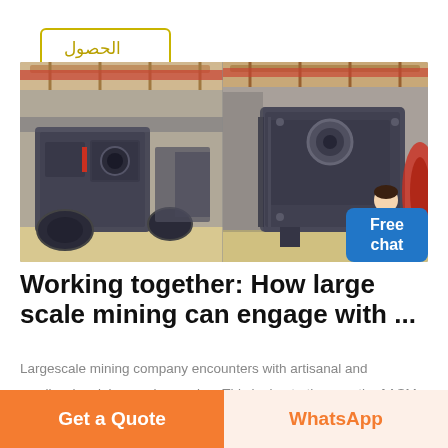→ الحصول على السعر
[Figure (photo): Two large grey industrial mining machines/crushers inside a factory warehouse with red overhead cranes and concrete floor. Split view showing left and right perspectives.]
Working together: How large scale mining can engage with ...
Largescale mining company encounters with artisanal and smallscale mining are increasing. This is due to the growth of ASM as well as the fact that companies are increasingly operating in remote regions of developing countries, where ASM is more likely to be present.
Get a Quote
WhatsApp